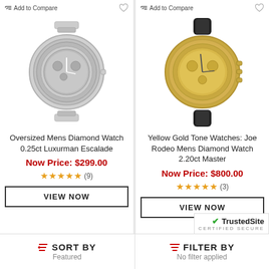[Figure (photo): Silver diamond-encrusted men's watch with metal bracelet - Luxurman Escalade]
Oversized Mens Diamond Watch 0.25ct Luxurman Escalade
Now Price: $299.00
★★★★★ (9)
VIEW NOW
[Figure (photo): Yellow gold tone men's diamond watch with black strap - Joe Rodeo Master]
Yellow Gold Tone Watches: Joe Rodeo Mens Diamond Watch 2.20ct Master
Now Price: $800.00
★★★★★ (3)
VIEW NOW
SORT BY Featured
FILTER BY No filter applied